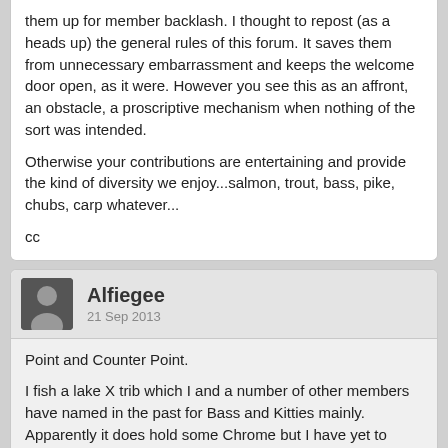them up for member backlash. I thought to repost (as a heads up) the general rules of this forum. It saves them from unnecessary embarrassment and keeps the welcome door open, as it were. However you see this as an affront, an obstacle, a proscriptive mechanism when nothing of the sort was intended.

Otherwise your contributions are entertaining and provide the kind of diversity we enjoy...salmon, trout, bass, pike, chubs, carp whatever...

cc
Alfiegee
21 Sep 2013
Point and Counter Point.

I fish a lake X trib which I and a number of other members have named in the past for Bass and Kitties mainly. Apparently it does hold some Chrome but I have yet to catch one. Other forum members have pointed out this naming tribs thing on some posts not mine really but I have seen it on other posts. This trib is 200 miles long at least, to me it is like naming Lake Simcoe. Anyone in the know knows what trib I am talking about. When I post I usually say I am fishing near X which means I could be 30 miles up or down from X.